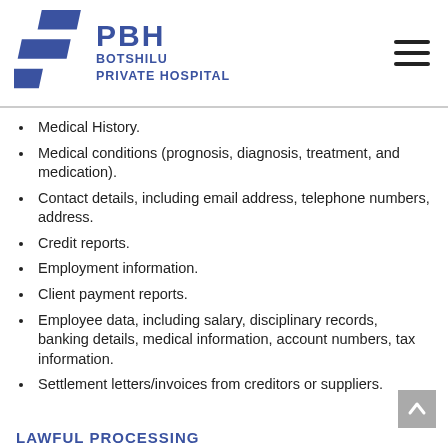[Figure (logo): PBH Botshilu Private Hospital logo with blue angular shapes and text]
Medical History.
Medical conditions (prognosis, diagnosis, treatment, and medication).
Contact details, including email address, telephone numbers, address.
Credit reports.
Employment information.
Client payment reports.
Employee data, including salary, disciplinary records, banking details, medical information, account numbers, tax information.
Settlement letters/invoices from creditors or suppliers.
LAWFUL PROCESSING